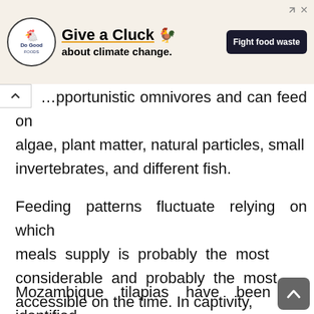[Figure (other): Advertisement banner: 'Give a Cluck about climate change. Fight food waste.' with Do Good logo and chicken icon.]
…pportunistic omnivores and can feed on algae, plant matter, natural particles, small invertebrates, and different fish.
Feeding patterns fluctuate relying on which meals supply is probably the most considerable and probably the most accessible on the time. In captivity,
Mozambique tilapias have been identified to learn to feed themselves utili… alread... feed on. They adapt to...